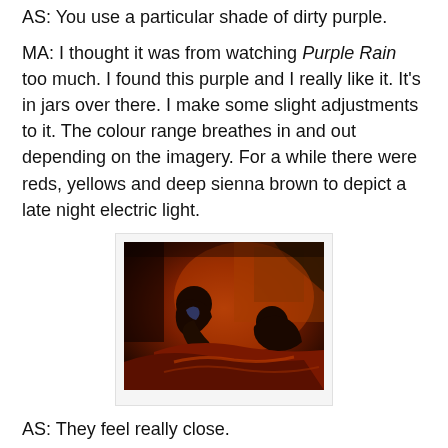AS: You use a particular shade of dirty purple.
MA: I thought it was from watching Purple Rain too much. I found this purple and I really like it. It's in jars over there. I make some slight adjustments to it. The colour range breathes in and out depending on the imagery. For a while there were reds, yellows and deep sienna brown to depict a late night electric light.
[Figure (photo): A painting with deep reds and dark tones depicting two figures in an interior scene under electric light. The figures appear close together, rendered in warm reds, oranges, and dark purples/blues. The atmosphere is intimate and nocturnal.]
AS: They feel really close.
MA: I used to work night shift at bars and restaurants. Those times are great because when going home at night